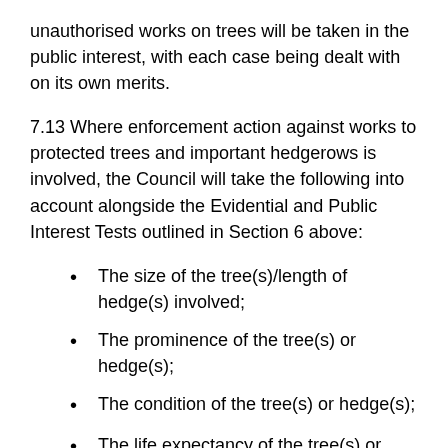unauthorised works on trees will be taken in the public interest, with each case being dealt with on its own merits.
7.13 Where enforcement action against works to protected trees and important hedgerows is involved, the Council will take the following into account alongside the Evidential and Public Interest Tests outlined in Section 6 above:
The size of the tree(s)/length of hedge(s) involved;
The prominence of the tree(s) or hedge(s);
The condition of the tree(s) or hedge(s);
The life expectancy of the tree(s) or hedge(s);
The seriousness of the offence;
The loss of/effect on amenity;